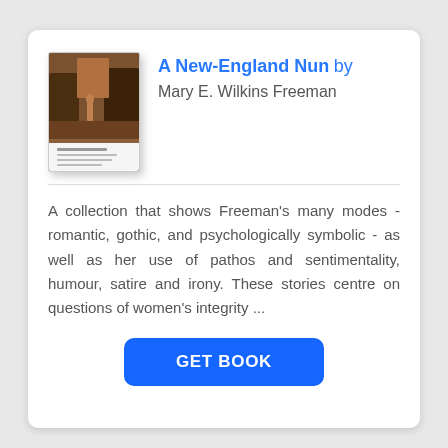[Figure (illustration): Book cover thumbnail for 'A New-England Nun' showing a dark reddish-brown scene with figures outdoors, white band at bottom with small text.]
A New-England Nun by Mary E. Wilkins Freeman
A collection that shows Freeman's many modes - romantic, gothic, and psychologically symbolic - as well as her use of pathos and sentimentality, humour, satire and irony. These stories centre on questions of women's integrity ...
GET BOOK